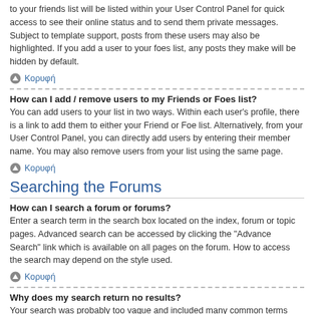to your friends list will be listed within your User Control Panel for quick access to see their online status and to send them private messages. Subject to template support, posts from these users may also be highlighted. If you add a user to your foes list, any posts they make will be hidden by default.
Κορυφή
How can I add / remove users to my Friends or Foes list?
You can add users to your list in two ways. Within each user's profile, there is a link to add them to either your Friend or Foe list. Alternatively, from your User Control Panel, you can directly add users by entering their member name. You may also remove users from your list using the same page.
Κορυφή
Searching the Forums
How can I search a forum or forums?
Enter a search term in the search box located on the index, forum or topic pages. Advanced search can be accessed by clicking the "Advance Search" link which is available on all pages on the forum. How to access the search may depend on the style used.
Κορυφή
Why does my search return no results?
Your search was probably too vague and included many common terms which are